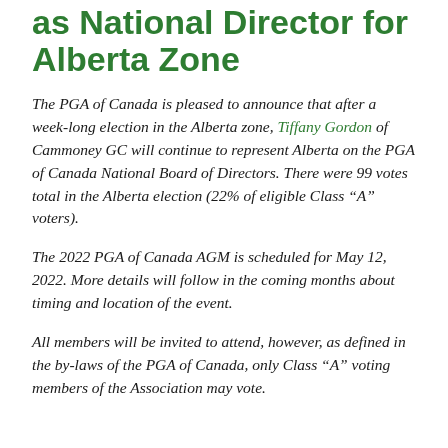as National Director for Alberta Zone
The PGA of Canada is pleased to announce that after a week-long election in the Alberta zone, Tiffany Gordon of Cammoney GC will continue to represent Alberta on the PGA of Canada National Board of Directors. There were 99 votes total in the Alberta election (22% of eligible Class “A” voters).
The 2022 PGA of Canada AGM is scheduled for May 12, 2022. More details will follow in the coming months about timing and location of the event.
All members will be invited to attend, however, as defined in the by-laws of the PGA of Canada, only Class “A” voting members of the Association may vote.